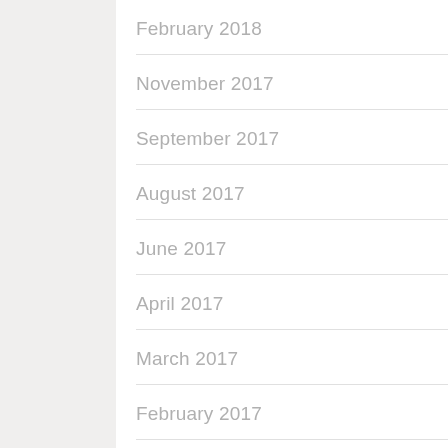February 2018
November 2017
September 2017
August 2017
June 2017
April 2017
March 2017
February 2017
January 2017
September 2016